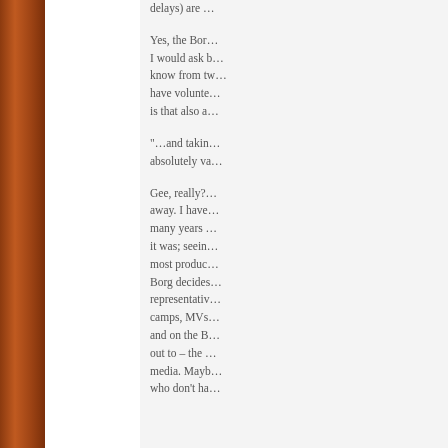delays) are …
Yes, the Bor… I would ask b… know from tw… have volunte… is that also a…
“…and takin… absolutely va…
Gee, really?… away. I have… many years … it was; seein… most produc… Borg decides… representativ… camps, MVs… and on the B… out to – the … media. Mayb… who don’t ha…